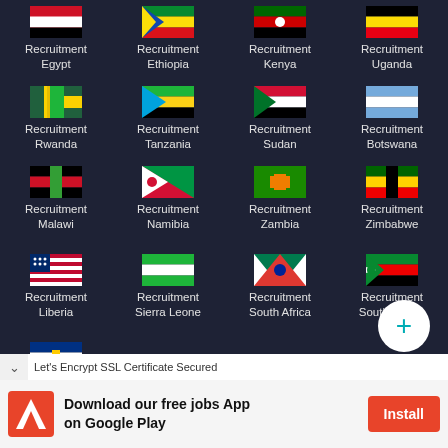Recruitment Egypt
Recruitment Ethiopia
Recruitment Kenya
Recruitment Uganda
Recruitment Rwanda
Recruitment Tanzania
Recruitment Sudan
Recruitment Botswana
Recruitment Malawi
Recruitment Namibia
Recruitment Zambia
Recruitment Zimbabwe
Recruitment Liberia
Recruitment Sierra Leone
Recruitment South Africa
Recruitment South Sudan
Recruitment Central African Republic
Let's Encrypt SSL Certificate Secured
Download our free jobs App on Google Play
Install